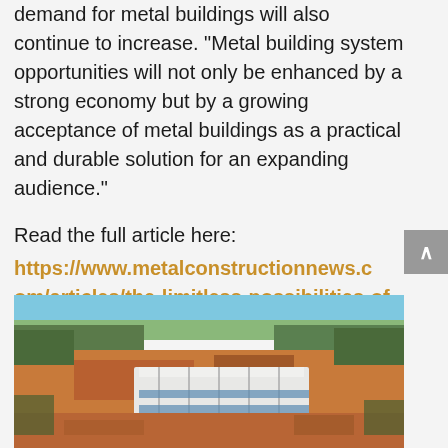demand for metal buildings will also continue to increase. “Metal building system opportunities will not only be enhanced by a strong economy but by a growing acceptance of metal buildings as a practical and durable solution for an expanding audience.”
Read the full article here: https://www.metalconstructionnews.com/articles/the-limitless-possibilities-of-metal-building-systems
[Figure (photo): Aerial drone photograph of a large metal building under construction surrounded by cleared land and forested areas, with red/orange soil visible around the construction site.]